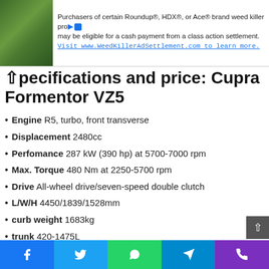[Figure (screenshot): Advertisement banner: text about Roundup, HDX, or Ace brand weed killer class action settlement, with plant photo on left]
Specifications and price: Cupra Formentor VZ5
Engine R5, turbo, front transverse
Displacement 2480cc
Perfomance 287 kW (390 hp) at 5700-7000 rpm
Max. Torque 480 Nm at 2250-5700 rpm
Drive All-wheel drive/seven-speed double clutch
L/W/H 4450/1839/1528mm
curb weight 1683kg
trunk 420-1475L
0-100 km/h 4.2s
Top 250km/h
Social share bar: Facebook, Twitter, WhatsApp, Telegram, Phone